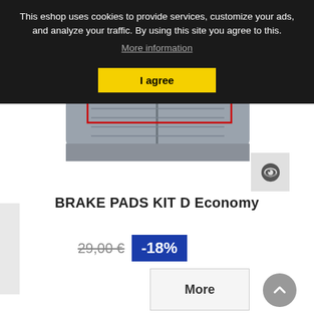This eshop uses cookies to provide services, customize your ads, and analyze your traffic. By using this site you agree to this. More information
I agree
[Figure (photo): Photo of brake pads kit with red rectangle highlight box around the product. Gray metallic brake pads set viewed from above against white background.]
BRAKE PADS KIT D Economy
29,00 € -18%
More